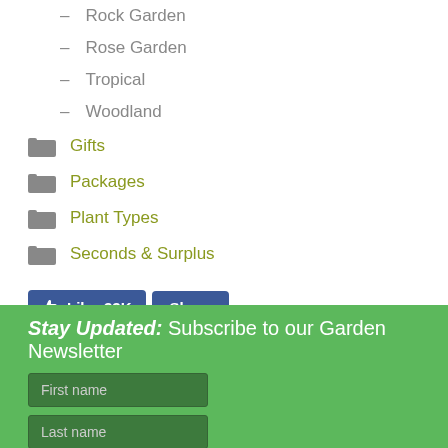– Rock Garden
– Rose Garden
– Tropical
– Woodland
Gifts
Packages
Plant Types
Seconds & Surplus
[Figure (screenshot): Facebook Like (33K) and Share buttons]
Stay Updated: Subscribe to our Garden Newsletter
First name input field
Last name input field